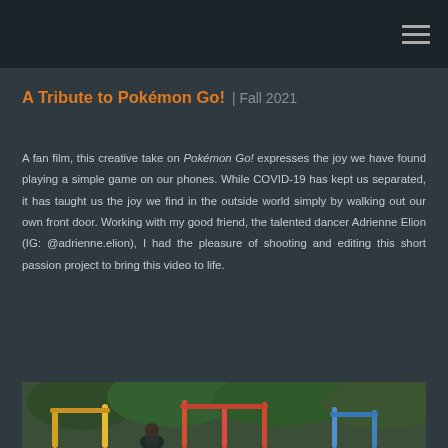A Tribute to Pokémon Go! | Fall 2021
A fan film, this creative take on Pokémon Go! expresses the joy we have found playing a simple game on our phones. While COVID-19 has kept us separated, it has taught us the joy we find in the outside world simply by walking out our own front door. Working with my good friend, the talented dancer Adrienne Elion (IG: @adrienne.elion), I had the pleasure of shooting and editing this short passion project to bring this video to life.
[Figure (photo): Outdoor playground equipment with green trees in the background, person visible at the bottom]